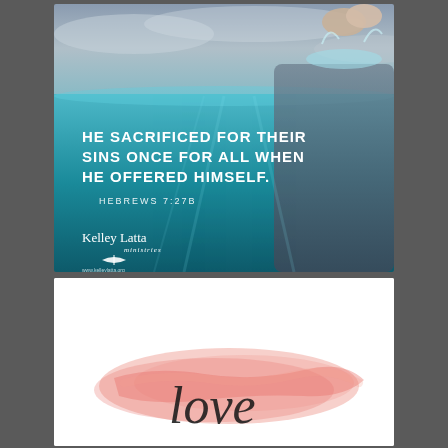[Figure (photo): Underwater scene showing a figure submerged in teal water with hands clasped above the surface, water splashing. Bold white text overlay reads: HE SACRIFICED FOR THEIR SINS ONCE FOR ALL WHEN HE OFFERED HIMSELF. HEBREWS 7:27B. Kelley Latta Ministries logo in bottom left.]
[Figure (photo): White background with a watercolor coral/salmon pink brushstroke and a cursive/script text beginning with 'love' or similar word in black script handwriting.]